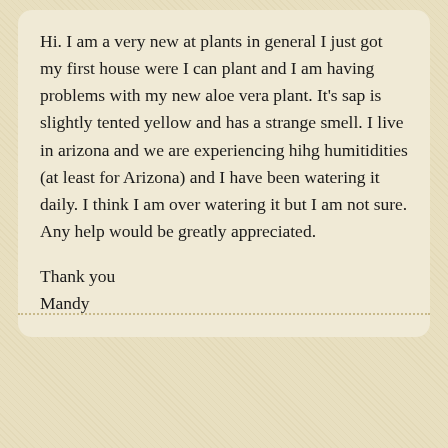Hi. I am a very new at plants in general I just got my first house were I can plant and I am having problems with my new aloe vera plant. It's sap is slightly tented yellow and has a strange smell. I live in arizona and we are experiencing hihg humitidities (at least for Arizona) and I have been watering it daily. I think I am over watering it but I am not sure. Any help would be greatly appreciated.

Thank you
Mandy